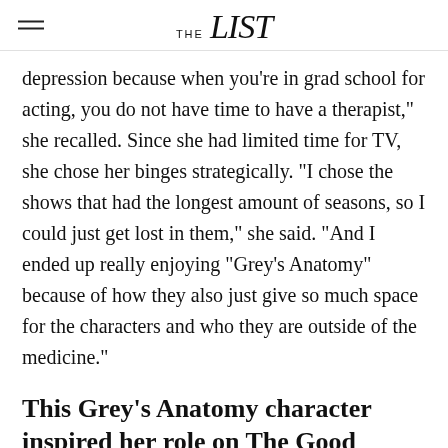THE list
depression because when you're in grad school for acting, you do not have time to have a therapist," she recalled. Since she had limited time for TV, she chose her binges strategically. "I chose the shows that had the longest amount of seasons, so I could just get lost in them," she said. "And I ended up really enjoying "Grey's Anatomy" because of how they also just give so much space for the characters and who they are outside of the medicine."
This Grey's Anatomy character inspired her role on The Good Doctor